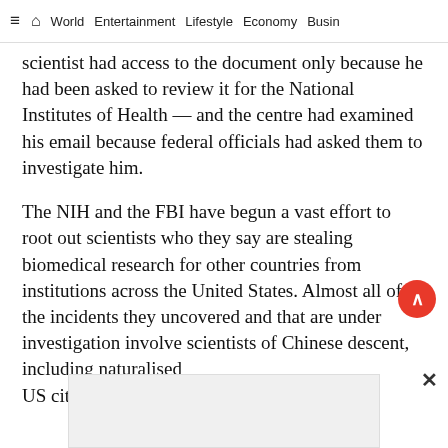≡  ⌂  World  Entertainment  Lifestyle  Economy  Busin
scientist had access to the document only because he had been asked to review it for the National Institutes of Health — and the centre had examined his email because federal officials had asked them to investigate him.
The NIH and the FBI have begun a vast effort to root out scientists who they say are stealing biomedical research for other countries from institutions across the United States. Almost all of the incidents they uncovered and that are under investigation involve scientists of Chinese descent, including naturalised US citizens, allegedly stealing for China